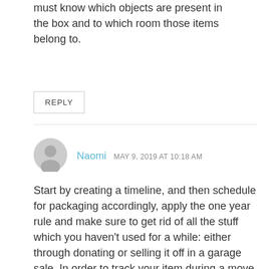must know which objects are present in the box and to which room those items belong to.
REPLY
Naomi  MAY 9, 2019 AT 10:18 AM
Start by creating a timeline, and then schedule for packaging accordingly, apply the one year rule and make sure to get rid of all the stuff which you haven't used for a while: either through donating or selling it off in a garage sale. In order to track your item during a move make an inventory checklist,I would recommend